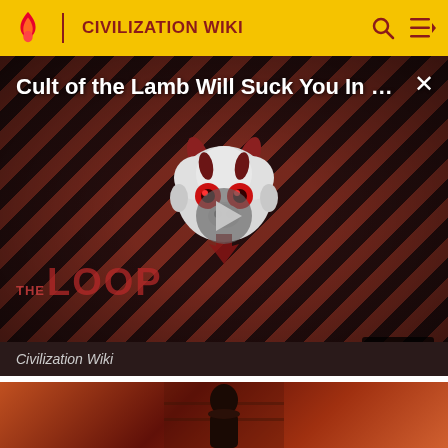CIVILIZATION WIKI
[Figure (screenshot): Video thumbnail for 'Cult of the Lamb Will Suck You In - ...' showing a cartoon lamb mascot with red eyes on a diagonal red/dark stripe background with THE LOOP logo text, a play button in the center, and NaN:NaN timestamp badge at bottom right]
Civilization Wiki
[Figure (photo): Second video thumbnail showing a dark game scene with warm orange/brown tones, a figure or character visible in the center against a brick-like background]